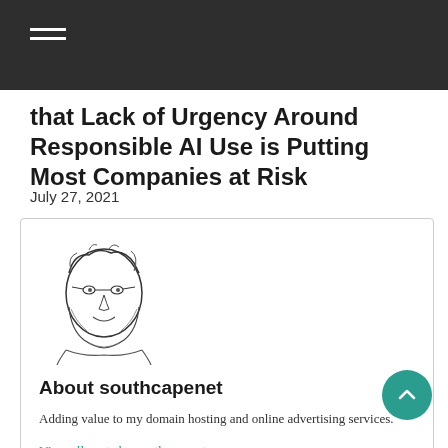that Lack of Urgency Around Responsible AI Use is Putting Most Companies at Risk
July 27, 2021
[Figure (illustration): Sketch illustration of a bearded man with glasses, drawn in black ink style, representing the author southcapenet]
About southcapenet
Adding value to my domain hosting and online advertising services.
View all posts by southcapenet →